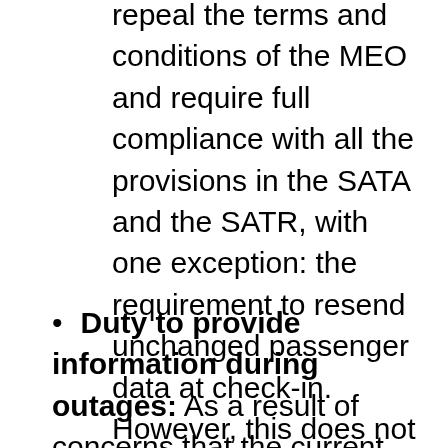repeal the terms and conditions of the MEO and require full compliance with all the provisions in the SATA and the SATR, with one exception: the requirement to resend unchanged passenger data at check-in. However, this does not preclude air carriers from sending unchanged data at check-in to the GC centralized screening system if their system is already set up that way.
Duty to provide information during outages: As a result of concerns that the current requirement would result in an unmanageable volume of calls